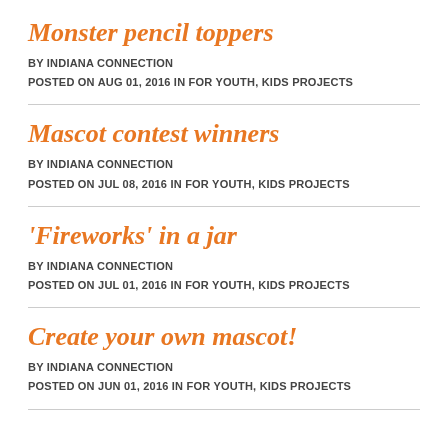Monster pencil toppers
BY INDIANA CONNECTION
POSTED ON AUG 01, 2016 IN FOR YOUTH, KIDS PROJECTS
Mascot contest winners
BY INDIANA CONNECTION
POSTED ON JUL 08, 2016 IN FOR YOUTH, KIDS PROJECTS
'Fireworks' in a jar
BY INDIANA CONNECTION
POSTED ON JUL 01, 2016 IN FOR YOUTH, KIDS PROJECTS
Create your own mascot!
BY INDIANA CONNECTION
POSTED ON JUN 01, 2016 IN FOR YOUTH, KIDS PROJECTS